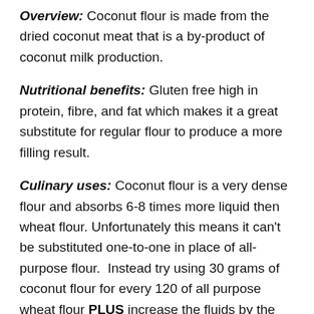Overview: Coconut flour is made from the dried coconut meat that is a by-product of coconut milk production.
Nutritional benefits: Gluten free high in protein, fibre, and fat which makes it a great substitute for regular flour to produce a more filling result.
Culinary uses: Coconut flour is a very dense flour and absorbs 6-8 times more liquid then wheat flour. Unfortunately this means it can't be substituted one-to-one in place of all-purpose flour. Instead try using 30 grams of coconut flour for every 120 of all purpose wheat flour PLUS increase the fluids by the same amount (i.e 30 grams) in addition to recommended liquids. Alternatively, there are recipes